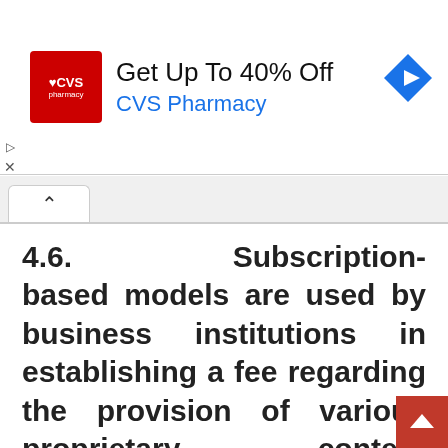[Figure (other): CVS Pharmacy advertisement banner showing 'Get Up To 40% Off CVS Pharmacy' with CVS logo and navigation icon]
4.6.        Subscription-based models are used by business institutions in establishing a fee regarding the provision of various proprietary content services. This type of digi